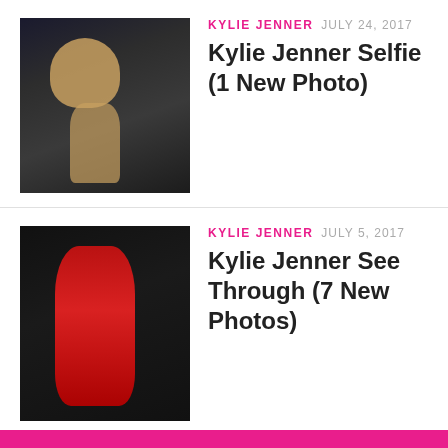[Figure (photo): Thumbnail photo of Kylie Jenner taking a mirror selfie]
KYLIE JENNER  JULY 24, 2017
Kylie Jenner Selfie (1 New Photo)
[Figure (photo): Thumbnail photo of Kylie Jenner in a red outfit]
KYLIE JENNER  JULY 5, 2017
Kylie Jenner See Through (7 New Photos)
Page 1 of 3
1  2  3  »